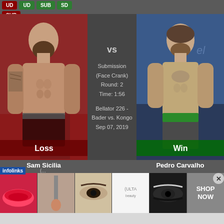UD UD SUB SD SUB (badges)
[Figure (photo): Sam Sicilia fighter photo, shirtless with tattoos, red/indoor background, 'Loss' label overlay]
vs
Submission (Face Crank)
Round: 2
Time: 1:56
Bellator 226 - Bader vs. Kongo
Sep 07, 2019
[Figure (photo): Pedro Carvalho fighter photo, shirtless, blue gym background, 'Win' label overlay]
Sam Sicilia
Pedro Carvalho
[Figure (photo): Ulta Beauty advertisement banner with makeup/eyes imagery and 'SHOP NOW' text]